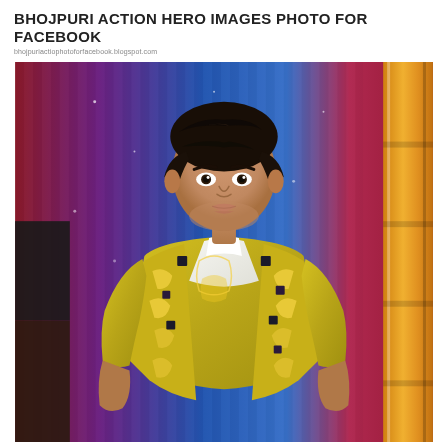BHOJPURI ACTION HERO IMAGES PHOTO FOR FACEBOOK
[Figure (photo): A man wearing a gold embroidered sherwani/jacket with dark mirror-work details over a white shirt, with dark styled hair, standing in front of colorful stage curtains (red, purple, blue) and a gold column on the right side.]